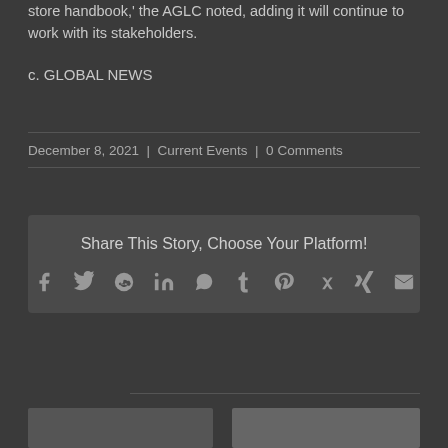store handbook,' the AGLC noted, adding it will continue to work with its stakeholders.
c. GLOBAL NEWS
December 8, 2021 | Current Events | 0 Comments
[Figure (infographic): Share This Story, Choose Your Platform! social media icons: Facebook, Twitter, Reddit, LinkedIn, WhatsApp, Tumblr, Pinterest, Vk, Xing, Email]
[Figure (photo): Two thumbnail images at bottom of page]